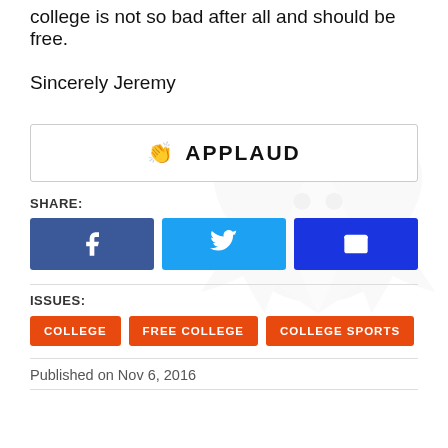college is not so bad after all and should be free.
Sincerely Jeremy
[Figure (other): Applaud button with hand clap icon and bold text 'APPLAUD']
SHARE:
[Figure (other): Three social share buttons: Facebook (dark blue), Twitter (light blue), Email (royal blue)]
ISSUES:
COLLEGE
FREE COLLEGE
COLLEGE SPORTS
Published on Nov 6, 2016